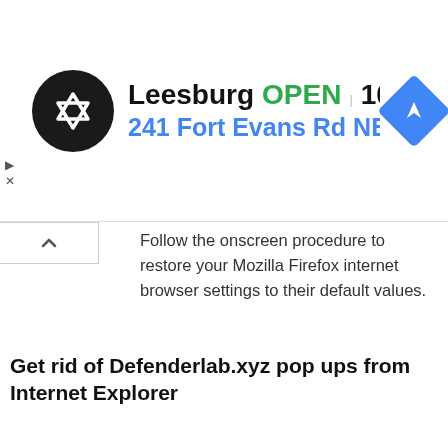[Figure (infographic): Advertisement banner with logo, Leesburg location, OPEN status, hours 10AM-7PM, address 241 Fort Evans Rd NE, Leesb, and navigation icon]
Follow the onscreen procedure to restore your Mozilla Firefox internet browser settings to their default values.
Get rid of Defenderlab.xyz pop ups from Internet Explorer
By resetting IE browser you return your internet browser settings to its default state. This is good initial when troubleshooting problems that might have been caused by adware responsible for Defenderlab.xyz pop up scam.
First, start the IE, then click 'gear' icon [gear]. It will display the Tools drop-down menu on the right part of the internet browser